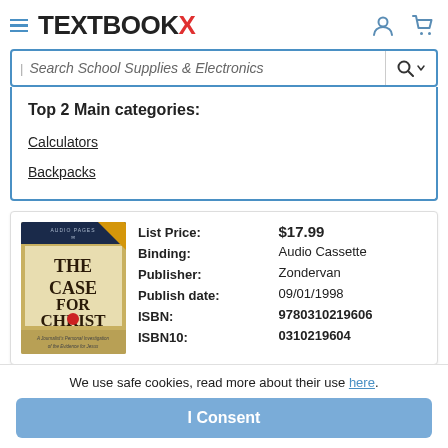TEXTBOOKX
Search School Supplies & Electronics
Top 2 Main categories:
Calculators
Backpacks
| Field | Value |
| --- | --- |
| List Price: | $17.99 |
| Binding: | Audio Cassette |
| Publisher: | Zondervan |
| Publish date: | 09/01/1998 |
| ISBN: | 9780310219606 |
| ISBN10: | 0310219604 |
We use safe cookies, read more about their use here.
I Consent